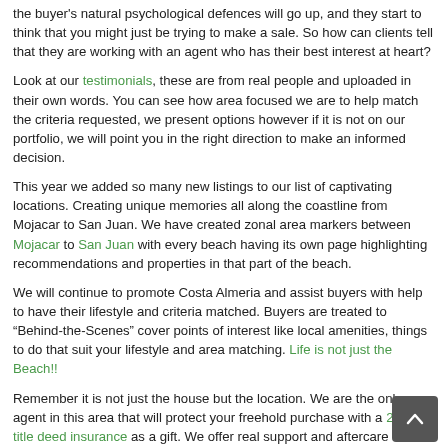the buyer's natural psychological defences will go up, and they start to think that you might just be trying to make a sale. So how can clients tell that they are working with an agent who has their best interest at heart?
Look at our testimonials, these are from real people and uploaded in their own words. You can see how area focused we are to help match the criteria requested, we present options however if it is not on our portfolio, we will point you in the right direction to make an informed decision.
This year we added so many new listings to our list of captivating locations. Creating unique memories all along the coastline from Mojacar to San Juan. We have created zonal area markers between Mojacar to San Juan with every beach having its own page highlighting recommendations and properties in that part of the beach.
We will continue to promote Costa Almeria and assist buyers with help to have their lifestyle and criteria matched. Buyers are treated to "Behind-the-Scenes" cover points of interest like local amenities, things to do that suit your lifestyle and area matching. Life is not just the Beach!!
Remember it is not just the house but the location. We are the only agent in this area that will protect your freehold purchase with a 20-year title deed insurance as a gift. We offer real support and aftercare for our valued clients.